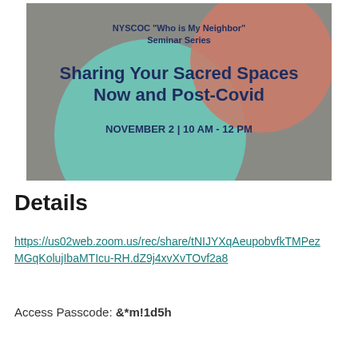[Figure (illustration): Event banner for NYSCOC 'Who is My Neighbor' Seminar Series. Title: 'Sharing Your Sacred Spaces Now and Post-Covid'. Date: November 2 | 10 AM - 12 PM. Background is gray with teal and terracotta overlapping circles.]
Details
https://us02web.zoom.us/rec/share/tNIJYXqAeupobvfkTMPezMGqKolujIbaMTIcu-RH.dZ9j4xvXvTOvf2a8
Access Passcode: &*m!1d5h